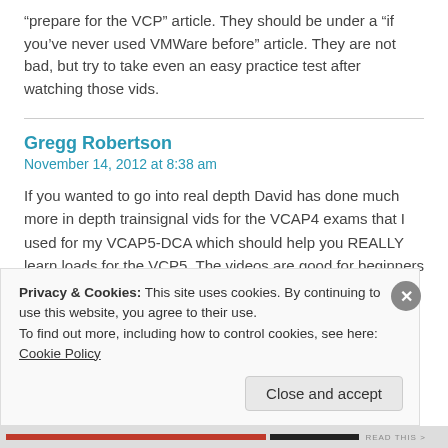“prepare for the VCP” article. They should be under a “if you’ve never used VMWare before” article. They are not bad, but try to take even an easy practice test after watching those vids.
Gregg Robertson
November 14, 2012 at 8:38 am
If you wanted to go into real depth David has done much more in depth trainsignal vids for the VCAP4 exams that I used for my VCAP5-DCA which should help you REALLY learn loads for the VCP5. The videos are good for beginners and when i was starting out on studies for VMware the trainsignal
Privacy & Cookies: This site uses cookies. By continuing to use this website, you agree to their use.
To find out more, including how to control cookies, see here: Cookie Policy